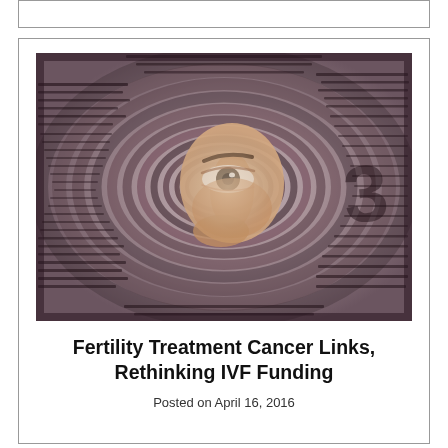[Figure (photo): A dramatic editorial photo of a person peering through a rolled newspaper, with the eye visible through the center of the spiral of newsprint pages, in black and white tones with slight purple hue.]
Fertility Treatment Cancer Links, Rethinking IVF Funding
Posted on April 16, 2016